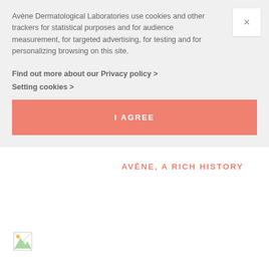Avène Dermatological Laboratories use cookies and other trackers for statistical purposes and for audience measurement, for targeted advertising, for testing and for personalizing browsing on this site.
Find out more about our Privacy policy >
Setting cookies >
I AGREE
AVÈNE, A RICH HISTORY
[Figure (other): Broken/loading image placeholder icon in lower left area of page]